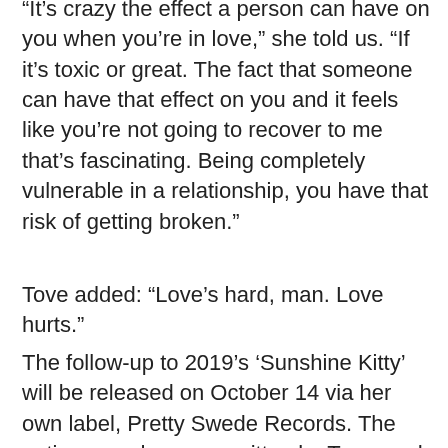“It’s crazy the effect a person can have on you when you’re in love,” she told us. “If it’s toxic or great. The fact that someone can have that effect on you and it feels like you’re not going to recover to me that’s fascinating. Being completely vulnerable in a relationship, you have that risk of getting broken.”
Tove added: “Love’s hard, man. Love hurts.”
The follow-up to 2019’s ‘Sunshine Kitty’ will be released on October 14 via her own label, Pretty Swede Records. The entire record was co-written by Tove, and will feature collaborations with Channel Tres, First Aid Kit and SG Lewis.